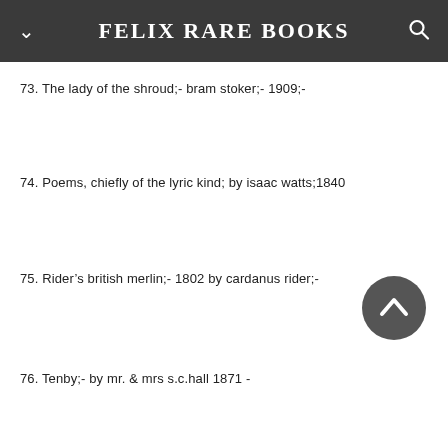FELIX RARE BOOKS
73. The lady of the shroud;- bram stoker;- 1909;-
74. Poems, chiefly of the lyric kind; by isaac watts;1840
75. Rider's british merlin;- 1802 by cardanus rider;-
76. Tenby;- by mr. & mrs s.c.hall 1871 -